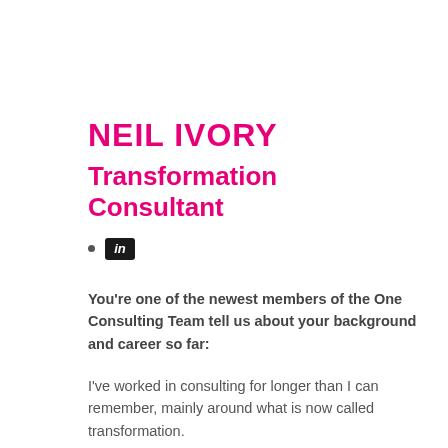NEIL IVORY
Transformation Consultant
[Figure (logo): LinkedIn logo badge — black square with 'in' in white text]
You're one of the newest members of the One Consulting Team tell us about your background and career so far:
I've worked in consulting for longer than I can remember, mainly around what is now called transformation.